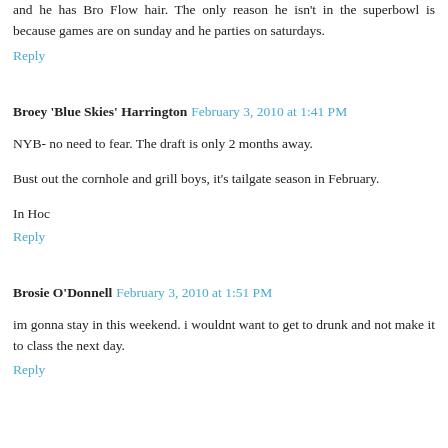and he has Bro Flow hair. The only reason he isn't in the superbowl is because games are on sunday and he parties on saturdays.
Reply
Broey 'Blue Skies' Harrington  February 3, 2010 at 1:41 PM
NYB- no need to fear. The draft is only 2 months away.
Bust out the cornhole and grill boys, it's tailgate season in February.
In Hoc
Reply
Brosie O'Donnell  February 3, 2010 at 1:51 PM
im gonna stay in this weekend. i wouldnt want to get to drunk and not make it to class the next day.
Reply